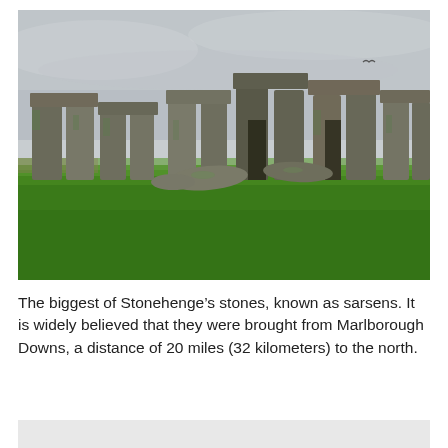[Figure (photo): Photograph of Stonehenge showing the large sarsen stones arranged in a circle on a green grass field under an overcast grey sky. The massive standing stones with lintels on top are visible, along with some fallen stones in the foreground.]
The biggest of Stonehenge's stones, known as sarsens. It is widely believed that they were brought from Marlborough Downs, a distance of 20 miles (32 kilometers) to the north.